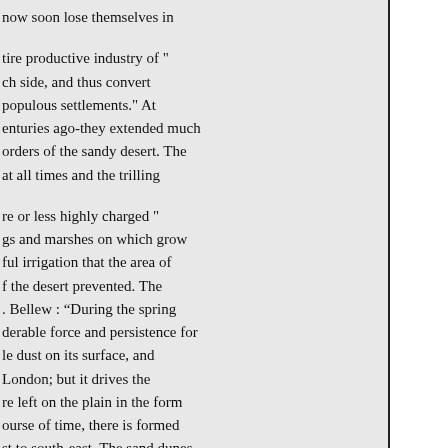now soon lose themselves in
tire productive industry of " ch side, and thus convert populous settlements." At enturies ago-they extended much orders of the sandy desert. The at all times and the trilling
re or less highly charged " gs and marshes on which grow ful irrigation that the area of f the desert prevented. The . Bellew : “During the spring derable force and persistence for le dust on its surface, and London; but it drives the re left on the plain in the form ourse of time, there is formed st to south-east. The sand dunes lly a hundred feet high, and in reen their rows, with numberless